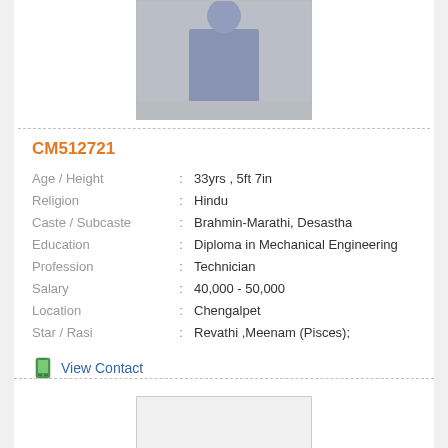[Figure (photo): Photo of a person standing, wearing a plaid shirt and jeans, partially cropped at the top]
CM512721
| Age / Height | : | 33yrs , 5ft 7in |
| Religion | : | Hindu |
| Caste / Subcaste | : | Brahmin-Marathi, Desastha |
| Education | : | Diploma in Mechanical Engineering |
| Profession | : | Technician |
| Salary | : | 40,000 - 50,000 |
| Location | : | Chengalpet |
| Star / Rasi | : | Revathi ,Meenam (Pisces); |
View Contact
[Figure (photo): Blank/empty photo placeholder at the bottom of the page]